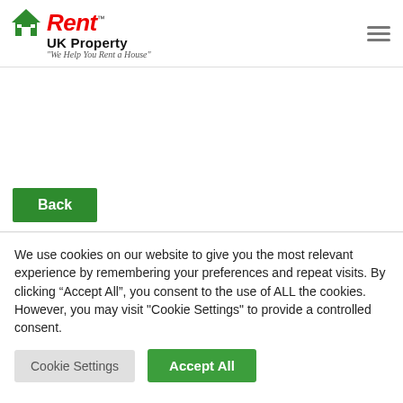[Figure (logo): Rent UK Property logo with house icon, red italic 'Rent' text with TM mark, bold 'UK Property' text, and tagline 'We Help You Rent a House']
Back
We use cookies on our website to give you the most relevant experience by remembering your preferences and repeat visits. By clicking “Accept All”, you consent to the use of ALL the cookies. However, you may visit "Cookie Settings" to provide a controlled consent.
Cookie Settings
Accept All